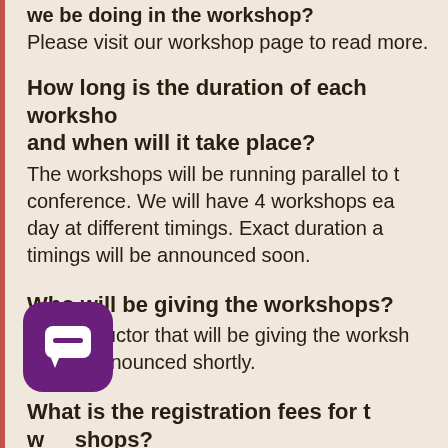we be doing in the workshop? Please visit our workshop page to read more.
How long is the duration of each workshop and when will it take place?
The workshops will be running parallel to the conference. We will have 4 workshops each day at different timings. Exact duration and timings will be announced soon.
Who will be giving the workshops?
The instructor that will be giving the workshops will be announced shortly.
What is the registration fees for the workshops?
Registration fees will be announced soon, but will range between 75 AED (21 USD) to 200 AED (55 USD) for each workshop.